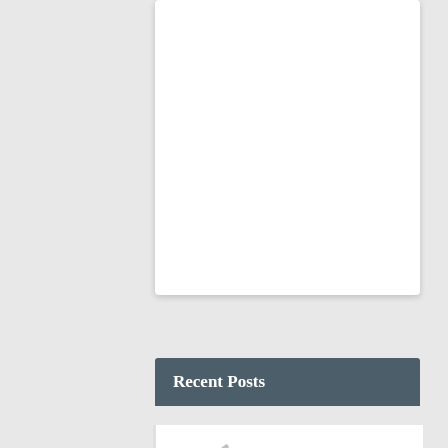[Figure (other): White card/box area at top of page, appears to be an advertisement or image placeholder]
Recent Posts
[Figure (photo): Photo of a Grav Labs Stax bong — glass pipe with red/orange base and angled mouthpiece]
The Top 10 Best Grav Labs Stax Bongs Online
April 11th, 2017
Looking for the best Grav Labs Stax bong...